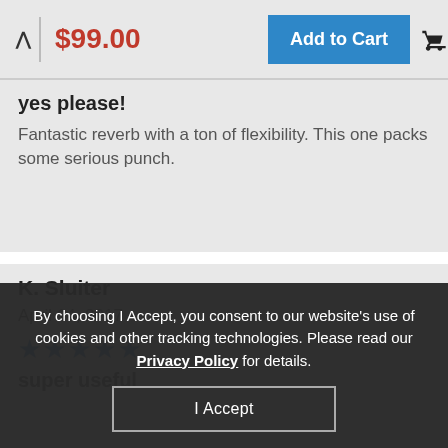^ $99.00
Add to Cart
yes please!
Fantastic reverb with a ton of flexibility. This one packs some serious punch.
K. Sluiter
April 14, 2017
★★★★★
super useful
By choosing I Accept, you consent to our website's use of cookies and other tracking technologies. Please read our Privacy Policy for details.
I Accept